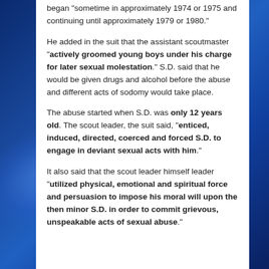began “sometime in approximately 1974 or 1975 and continuing until approximately 1979 or 1980.”
He added in the suit that the assistant scoutmaster “actively groomed young boys under his charge for later sexual molestation.” S.D. said that he would be given drugs and alcohol before the abuse and different acts of sodomy would take place.
The abuse started when S.D. was only 12 years old. The scout leader, the suit said, “enticed, induced, directed, coerced and forced S.D. to engage in deviant sexual acts with him.”
It also said that the scout leader himself leader “utilized physical, emotional and spiritual force and persuasion to impose his moral will upon the then minor S.D. in order to commit grievous, unspeakable acts of sexual abuse.”